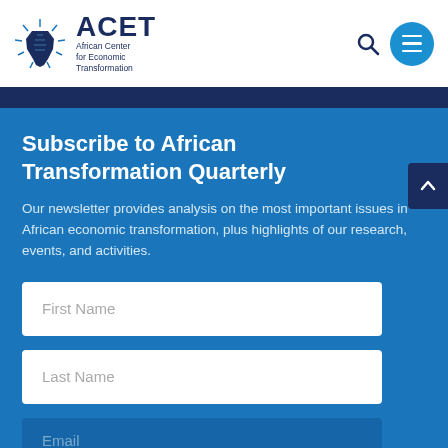ACET African Center for Economic Transformation
Subscribe to African Transformation Quarterly
Our newsletter provides analysis on the most important issues in African economic transformation, plus highlights of our research, events, and activities.
First Name
Last Name
Email